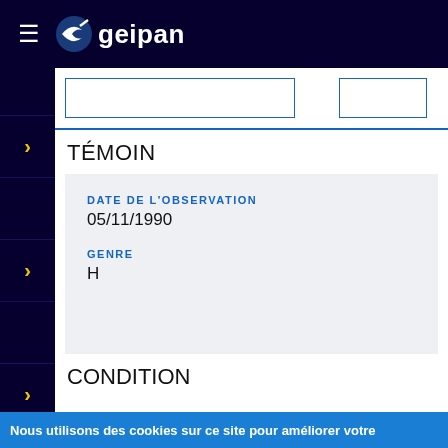geipan
TÉMOIN
DATE DE L'OBSERVATION
05/11/1990
GENRE
H
CONDITION
Nous utilisons des cookies sur ce site pour améliorer votre